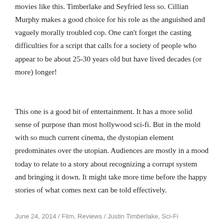movies like this.  Timberlake and Seyfried less so.  Cillian Murphy makes a good choice for his role as the anguished and vaguely morally troubled cop.  One can't forget the casting difficulties for a script that calls for a society of people who appear to be about 25-30 years old but have lived decades (or more) longer!
This one is a good bit of entertainment.  It has a more solid sense of purpose than most hollywood sci-fi.  But in the mold with so much current cinema, the dystopian element predominates over the utopian.  Audiences are mostly in a mood today to relate to a story about recognizing a corrupt system and bringing it down.  It might take more time before the happy stories of what comes next can be told effectively.
June 24, 2014  /  Film, Reviews  /  Justin Timberlake, Sci-Fi